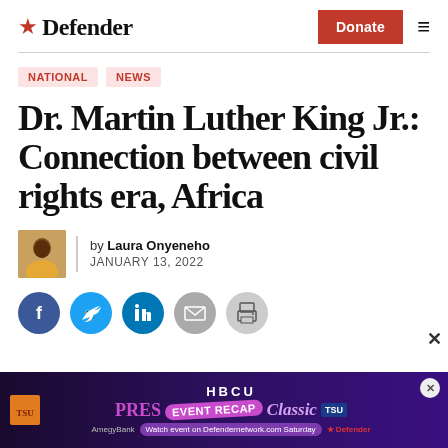Defender — Donate
NATIONAL   NEWS
Dr. Martin Luther King Jr.: Connection between civil rights era, Africa
by Laura Onyeneho — JANUARY 13, 2022
[Figure (other): Social share buttons: Facebook, Twitter, LinkedIn, Email, Print]
[Figure (other): Advertisement banner: HBCU Presidential Classic event recap, AmegyBank, Watch event on Defendernetwork.com Saturday, Defender]